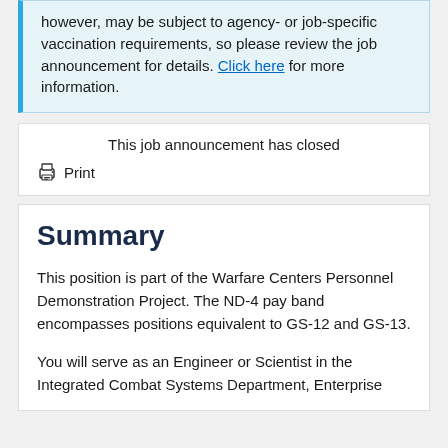however, may be subject to agency- or job-specific vaccination requirements, so please review the job announcement for details. Click here for more information.
This job announcement has closed
Print
Summary
This position is part of the Warfare Centers Personnel Demonstration Project. The ND-4 pay band encompasses positions equivalent to GS-12 and GS-13.
You will serve as an Engineer or Scientist in the Integrated Combat Systems Department, Enterprise